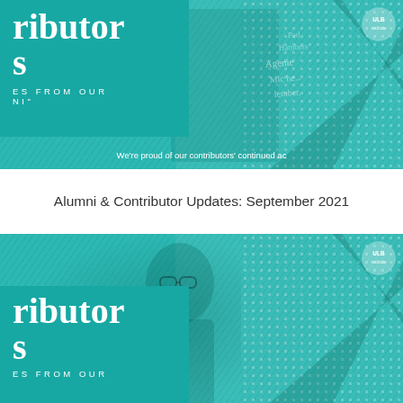[Figure (illustration): Teal-colored banner/card image with overlaid text showing partial words 'ributor' and 's' and 'ES FROM OUR' and 'NI"' on a teal background with a photo of people in the background and diagonal stripe texture overlay.]
Alumni & Contributor Updates: September 2021
[Figure (illustration): Second teal-colored banner/card image almost identical to the first, showing partial words 'ributor' and 's' and 'ES FROM OUR' on a teal background with a photo of a person wearing glasses and diagonal stripe texture overlay. It appears to be a duplicate/repeat of the first card.]